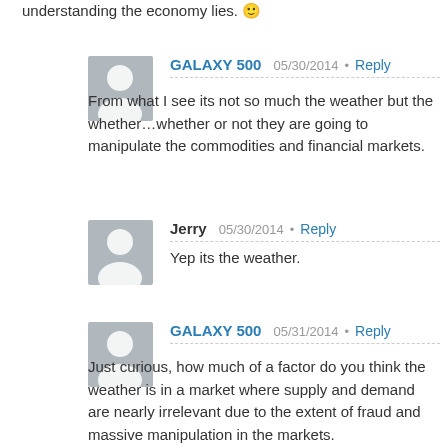understanding the economy lies. 🙂
GALAXY 500   05/30/2014 • Reply
From what I see its not so much the weather but the whether…whether or not they are going to manipulate the commodities and financial markets.
Jerry   05/30/2014 • Reply
Yep its the weather.
GALAXY 500   05/31/2014 • Reply
Just curious, how much of a factor do you think the weather is in a market where supply and demand are nearly irrelevant due to the extent of fraud and massive manipulation in the markets.